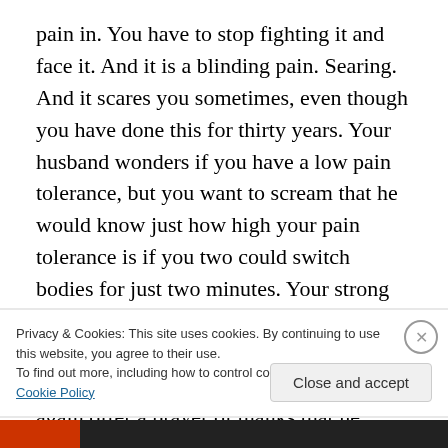pain in. You have to stop fighting it and face it. And it is a blinding pain. Searing. And it scares you sometimes, even though you have done this for thirty years. Your husband wonders if you have a low pain tolerance, but you want to scream that he would know just how high your pain tolerance is if you two could switch bodies for just two minutes. Your strong lumberjack of a husband would be on his knees – you know it. And you love him anyway and look into his eyes and once again offer a prayer of thanks that he doesn't have to understand this pain. (Plus, being a spouse to someone with migraines is a pain unto itself.)
Privacy & Cookies: This site uses cookies. By continuing to use this website, you agree to their use. To find out more, including how to control cookies, see here: Cookie Policy